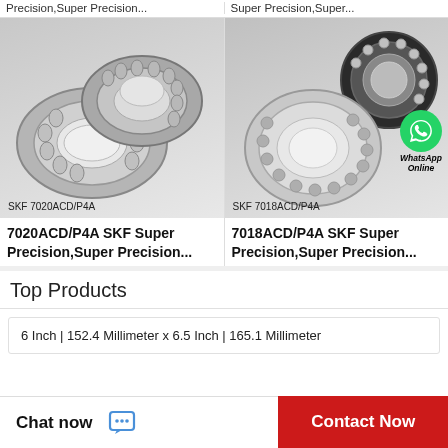Precision,Super Precision...
Super Precision,Super...
[Figure (photo): SKF 7020ACD/P4A bearing - two cylindrical roller bearings shown on grey background]
[Figure (photo): SKF 7018ACD/P4A bearing - angular contact ball bearings shown on grey background, with WhatsApp Online badge overlay]
7020ACD/P4A SKF Super Precision,Super Precision…
7018ACD/P4A SKF Super Precision,Super Precision…
Top Products
6 Inch | 152.4 Millimeter x 6.5 Inch | 165.1 Millimeter
Chat now
Contact Now